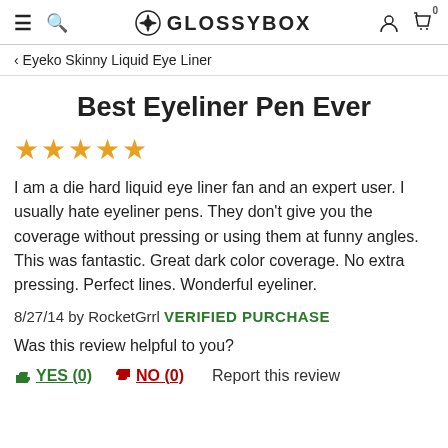GLOSSYBOX
< Eyeko Skinny Liquid Eye Liner
Best Eyeliner Pen Ever
★★★★★ (5 stars)
I am a die hard liquid eye liner fan and an expert user. I usually hate eyeliner pens. They don't give you the coverage without pressing or using them at funny angles. This was fantastic. Great dark color coverage. No extra pressing. Perfect lines. Wonderful eyeliner.
8/27/14 by RocketGrrl VERIFIED PURCHASE
Was this review helpful to you?
YES (0)  NO (0)  Report this review